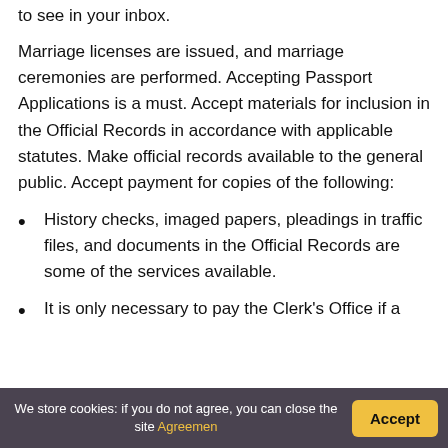to see in your inbox.
Marriage licenses are issued, and marriage ceremonies are performed. Accepting Passport Applications is a must. Accept materials for inclusion in the Official Records in accordance with applicable statutes. Make official records available to the general public. Accept payment for copies of the following:
History checks, imaged papers, pleadings in traffic files, and documents in the Official Records are some of the services available.
It is only necessary to pay the Clerk's Office if a
We store cookies: if you do not agree, you can close the site Agreemen
Accept